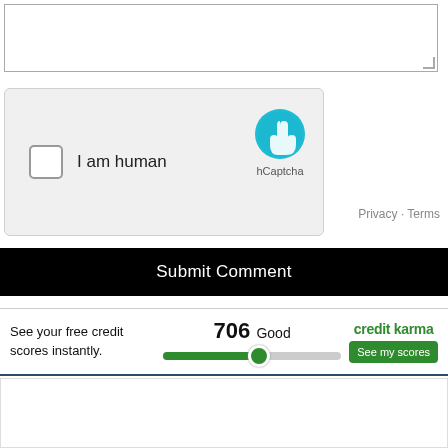[Figure (screenshot): Text area input box with resize handle at bottom right]
[Figure (screenshot): hCaptcha widget with checkbox 'I am human', hCaptcha logo, Privacy and Terms links]
[Figure (screenshot): Submit Comment button in black]
[Figure (screenshot): Credit Karma advertisement showing credit score 706 Good with green slider bar and See my scores button]
[Figure (screenshot): White content area below the Credit Karma ad]